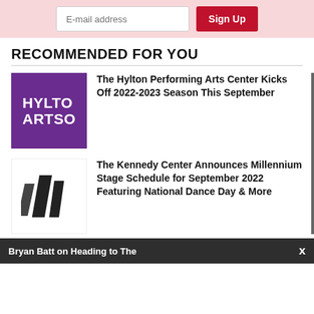E-mail address
Sign Up
RECOMMENDED FOR YOU
[Figure (logo): Hylton Performing Arts Center logo — purple square with white text HYLTO / ARTSC]
The Hylton Performing Arts Center Kicks Off 2022-2023 Season This September
[Figure (logo): Kennedy Center logo — dark triangular sails graphic on white background]
The Kennedy Center Announces Millennium Stage Schedule for September 2022 Featuring National Dance Day & More
share
Bryan Batt on Heading to The
x